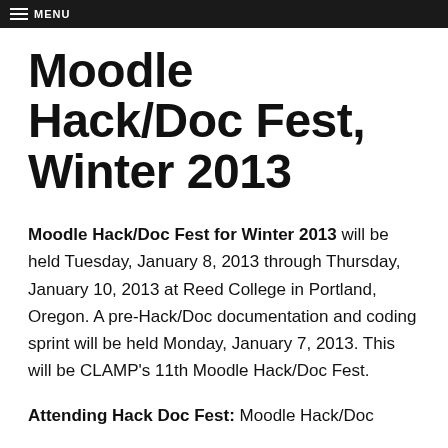MENU
Moodle Hack/Doc Fest, Winter 2013
Moodle Hack/Doc Fest for Winter 2013 will be held Tuesday, January 8, 2013 through Thursday, January 10, 2013 at Reed College in Portland, Oregon. A pre-Hack/Doc documentation and coding sprint will be held Monday, January 7, 2013. This will be CLAMP's 11th Moodle Hack/Doc Fest.
Attending Hack Doc Fest: Moodle Hack/Doc